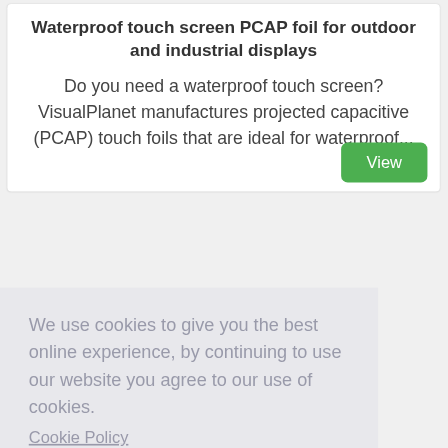Waterproof touch screen PCAP foil for outdoor and industrial displays
Do you need a waterproof touch screen? VisualPlanet manufactures projected capacitive (PCAP) touch foils that are ideal for waterproof...
We use cookies to give you the best online experience, by continuing to use our website you agree to our use of cookies.
Cookie Policy
Got it!
Allow cookies